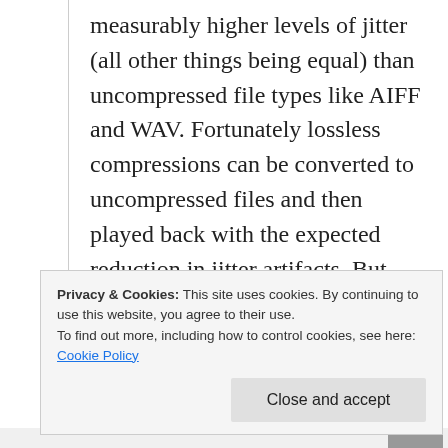measurably higher levels of jitter (all other things being equal) than uncompressed file types like AIFF and WAV. Fortunately lossless compressions can be converted to uncompressed files and then played back with the expected reduction in jitter artifacts. But playback of a lossless file in it's compressed format will result in
Privacy & Cookies: This site uses cookies. By continuing to use this website, you agree to their use.
To find out more, including how to control cookies, see here: Cookie Policy

Close and accept